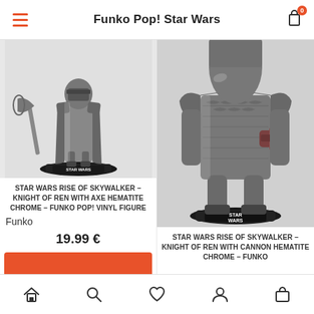Funko Pop! Star Wars
[Figure (photo): Funko Pop Star Wars Knight of Ren with Axe Hematite Chrome vinyl figure on black Star Wars base]
STAR WARS RISE OF SKYWALKER – KNIGHT OF REN WITH AXE HEMATITE CHROME – FUNKO POP! VINYL FIGURE
Funko
19.99 €
[Figure (photo): Funko Pop Star Wars Knight of Ren with Cannon Hematite Chrome vinyl figure on black Star Wars base, close-up view]
STAR WARS RISE OF SKYWALKER – KNIGHT OF REN WITH CANNON HEMATITE CHROME – FUNKO